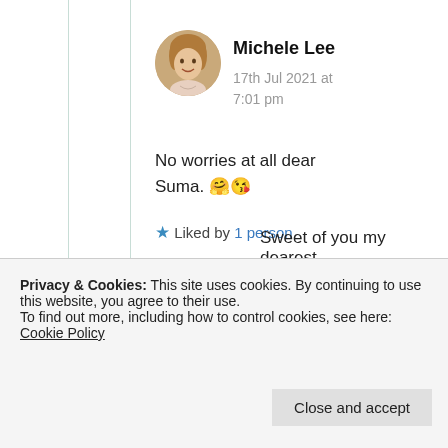Michele Lee
17th Jul 2021 at 7:01 pm
No worries at all dear Suma. 🤗😘
★ Liked by 1 person
Privacy & Cookies: This site uses cookies. By continuing to use this website, you agree to their use.
To find out more, including how to control cookies, see here: Cookie Policy
Close and accept
Sweet of you my dearest